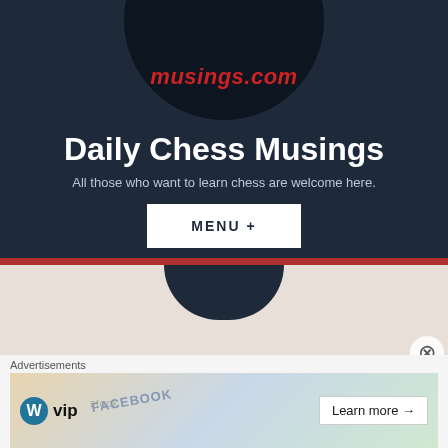[Figure (logo): Circular dark navy logo with red italic text reading 'musings.com' at the bottom, partially cropped at top of page]
Daily Chess Musings
All those who want to learn chess are welcome here.
MENU +
Tag Archives: Lauren
Advertisements
[Figure (screenshot): Advertisement banner showing WordPress VIP logo on left, background with Facebook/social media imagery, and Learn more button with arrow on right]